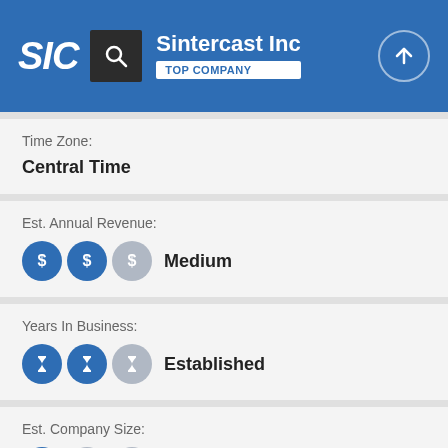SIC | Sintercast Inc | TOP COMPANY
Time Zone:
Central Time
Est. Annual Revenue:
Medium
Years In Business:
Established
Est. Company Size:
Small